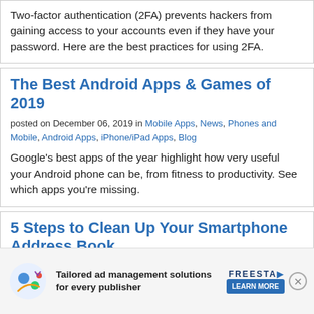Two-factor authentication (2FA) prevents hackers from gaining access to your accounts even if they have your password. Here are the best practices for using 2FA.
The Best Android Apps & Games of 2019
posted on December 06, 2019 in Mobile Apps, News, Phones and Mobile, Android Apps, iPhone/iPad Apps, Blog
Google's best apps of the year highlight how very useful your Android phone can be, from fitness to productivity. See which apps you're missing.
5 Steps to Clean Up Your Smartphone Address Book
posted on October 07, 2019 in Tech 101, Phones and Mobile, Mobile Apps, Android Apps, iPhone/iPad Apps, Productivity, Tips & How...
Is you... (ad overlay visible)
[Figure (other): Advertisement overlay: Tailored ad management solutions for every publisher — FREESTA... with LEARN MORE button and close X button]